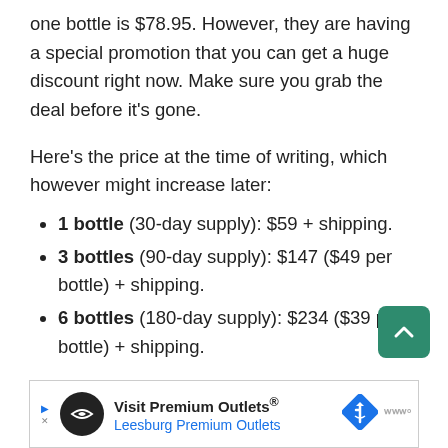one bottle is $78.95. However, they are having a special promotion that you can get a huge discount right now. Make sure you grab the deal before it's gone.
Here's the price at the time of writing, which however might increase later:
1 bottle (30-day supply): $59 + shipping.
3 bottles (90-day supply): $147 ($49 per bottle) + shipping.
6 bottles (180-day supply): $234 ($39 per bottle) + shipping.
[Figure (other): Advertisement banner: Visit Premium Outlets® Leesburg Premium Outlets with logo and map pin icon]